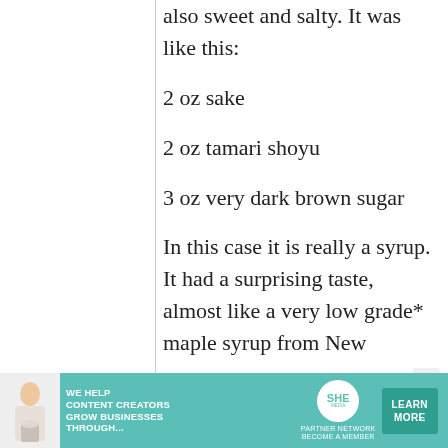also sweet and salty. It was like this:
2 oz sake
2 oz tamari shoyu
3 oz very dark brown sugar
In this case it is really a syrup. It had a surprising taste, almost like a very low grade* maple syrup from New
[Figure (infographic): Advertisement banner: WE HELP CONTENT CREATORS GROW BUSINESSES THROUGH... SHE PARTNER NETWORK BECOME A MEMBER. LEARN MORE button.]